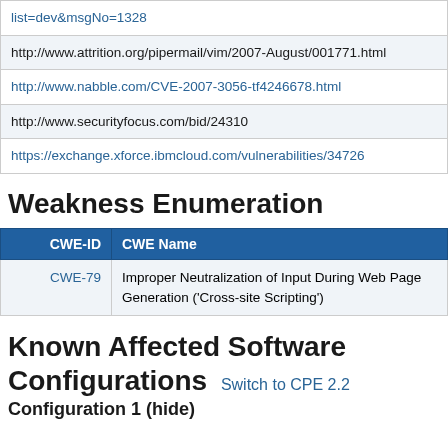| URL |
| --- |
| list=dev&msgNo=1328 |
| http://www.attrition.org/pipermail/vim/2007-August/001771.html |
| http://www.nabble.com/CVE-2007-3056-tf4246678.html |
| http://www.securityfocus.com/bid/24310 |
| https://exchange.xforce.ibmcloud.com/vulnerabilities/34726 |
Weakness Enumeration
| CWE-ID | CWE Name |
| --- | --- |
| CWE-79 | Improper Neutralization of Input During Web Page Generation ('Cross-site Scripting') |
Known Affected Software Configurations
Switch to CPE 2.2
Configuration 1 (hide)